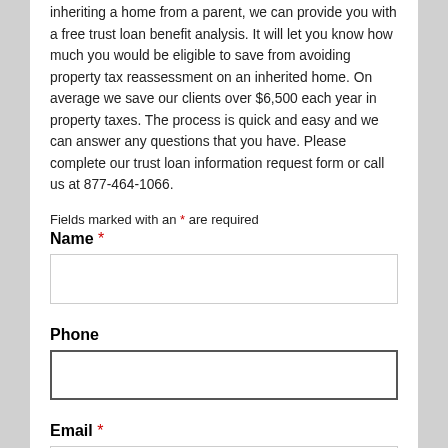inheriting a home from a parent, we can provide you with a free trust loan benefit analysis. It will let you know how much you would be eligible to save from avoiding property tax reassessment on an inherited home. On average we save our clients over $6,500 each year in property taxes. The process is quick and easy and we can answer any questions that you have. Please complete our trust loan information request form or call us at 877-464-1066.
Fields marked with an * are required
Name *
Phone
Email *